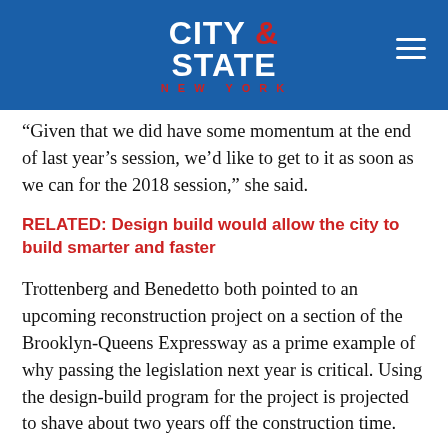CITY & STATE NEW YORK
“Given that we did have some momentum at the end of last year’s session, we’d like to get to it as soon as we can for the 2018 session,” she said.
RELATED: Design build would allow the city to build smarter and faster
Trottenberg and Benedetto both pointed to an upcoming reconstruction project on a section of the Brooklyn-Queens Expressway as a prime example of why passing the legislation next year is critical. Using the design-build program for the project is projected to shave about two years off the construction time.
That reduction in time...